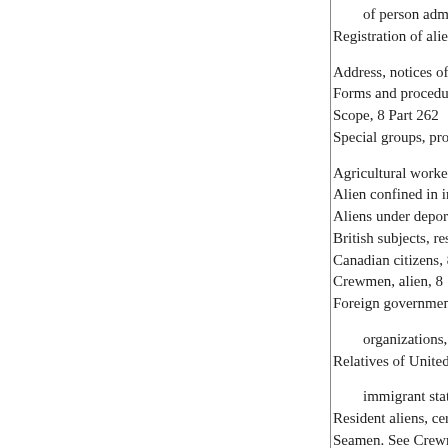of person admitted for p
Registration of aliens in U
Address, notices of 8 Part
Forms and procedure, 8 Pa
Scope, 8 Part 262
Special groups, provisions
Agricultural workers, 8 § 2
Alien confined in institutio
Aliens under deportation p
British subjects, residents
Canadian citizens, 8 § 263
Crewmen, alien, 8 § 263.4
Foreign government offici
organizations, etc.,
Relatives of United States
immigrant status, 8 Part
Resident aliens, certain; ad
Seamen. See Crewmen.
Selective Service registran
Status, adjustment of: